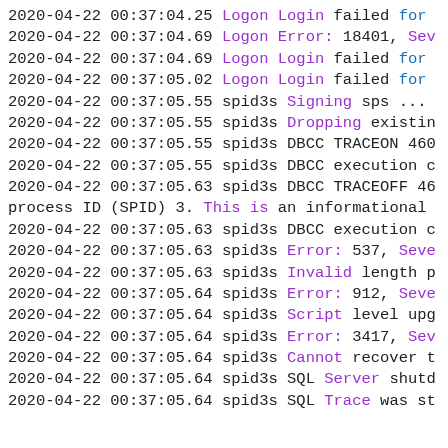2020-04-22 00:37:04.25 Logon Login failed for
2020-04-22 00:37:04.69 Logon Error: 18401, Sev
2020-04-22 00:37:04.69 Logon Login failed for
2020-04-22 00:37:05.02 Logon Login failed for
2020-04-22 00:37:05.55 spid3s Signing sps ...
2020-04-22 00:37:05.55 spid3s Dropping existin
2020-04-22 00:37:05.55 spid3s DBCC TRACEON 460
2020-04-22 00:37:05.55 spid3s DBCC execution c
2020-04-22 00:37:05.63 spid3s DBCC TRACEOFF 46
process ID (SPID) 3. This is an informational
2020-04-22 00:37:05.63 spid3s DBCC execution c
2020-04-22 00:37:05.63 spid3s Error: 537, Seve
2020-04-22 00:37:05.63 spid3s Invalid length p
2020-04-22 00:37:05.64 spid3s Error: 912, Seve
2020-04-22 00:37:05.64 spid3s Script level upg
2020-04-22 00:37:05.64 spid3s Error: 3417, Sev
2020-04-22 00:37:05.64 spid3s Cannot recover t
2020-04-22 00:37:05.64 spid3s SQL Server shutd
2020-04-22 00:37:05.64 spid3s SQL Trace was st